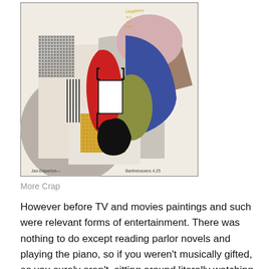[Figure (illustration): A cubist-style painting featuring abstract geometric shapes including arcs, rectangles, and curved forms in red, blue, green, gray, brown, and black, suggesting a stylized guitar or musical instrument. Artists' names appear at the bottom: Jan-Daperton and Barthelossers 4.25.]
More Crap
However before TV and movies paintings and such were relevant forms of entertainment.  There was nothing to do except reading parlor novels and playing the piano, so if you weren't musically gifted, as you surely aren't, sitting around literally watching the paint dry was pretty exciting.